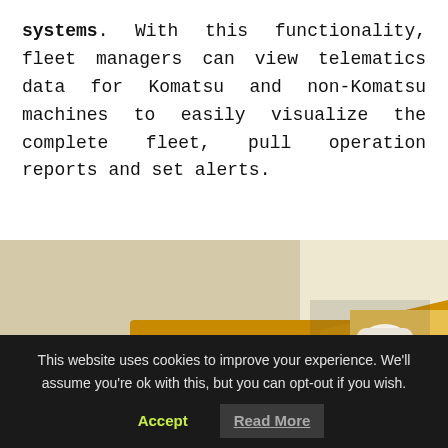systems. With this functionality, fleet managers can view telematics data for Komatsu and non-Komatsu machines to easily visualize the complete fleet, pull operation reports and set alerts.
[Figure (photo): A hand holding a smartphone displaying the MyKomatsu app with a donut chart, with a worker in hi-vis vest and hard hat servicing a yellow Komatsu construction machine in the background.]
This website uses cookies to improve your experience. We'll assume you're ok with this, but you can opt-out if you wish.